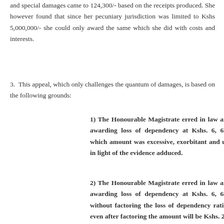and special damages came to 124,300/- based on the receipts produced. She however found that since her pecuniary jurisdiction was limited to Kshs 5,000,000/- she could only award the same which she did with costs and interests.
3. This appeal, which only challenges the quantum of damages, is based on the following grounds:
1) The Honourable Magistrate erred in law and in fact in awarding loss of dependency at Kshs. 6, 635, 344.20/= which amount was excessive, exorbitant and unwarranted in light of the evidence adduced.
2) The Honourable Magistrate erred in law and in fact in awarding loss of dependency at Kshs. 6, 635, 344.20/= without factoring the loss of dependency ratio of 2/3 and even after factoring the amount will be Kshs. 2, 211, 782.40 which amount is still excessive, exorbitant and